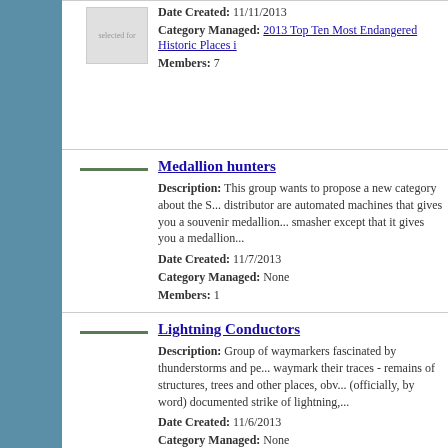Date Created: 11/11/2013
Category Managed: 2013 Top Ten Most Endangered Historic Places i...
Members: 7
Medallion hunters
Description: This group wants to propose a new category about the S... distributor are automated machines that gives you a souvenir medallion... smasher except that it gives you a medallion...
Date Created: 11/7/2013
Category Managed: None
Members: 1
Lightning Conductors
Description: Group of waymarkers fascinated by thunderstorms and pe... waymark their traces - remains of structures, trees and other places, obv... (officially, by word) documented strike of lightning,...
Date Created: 11/6/2013
Category Managed: None
Members: 6
The North Carolina Daniel Boone Heritage Trail
Description: Members of this group will have an interest in locating m... to commemorating the life and times of Daniel Boone, America's pione... years, from 1752 to 1773, from the ages of...